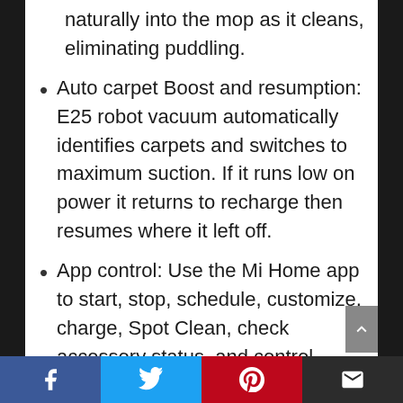naturally into the mop as it cleans, eliminating puddling.
Auto carpet Boost and resumption: E25 robot vacuum automatically identifies carpets and switches to maximum suction. If it runs low on power it returns to recharge then resumes where it left off.
App control: Use the Mi Home app to start, stop, schedule, customize, charge, Spot Clean, check accessory status, and control movement direction. 2.4GHz Wi-Fi required, compatible with Android,
Facebook | Twitter | Pinterest | Email